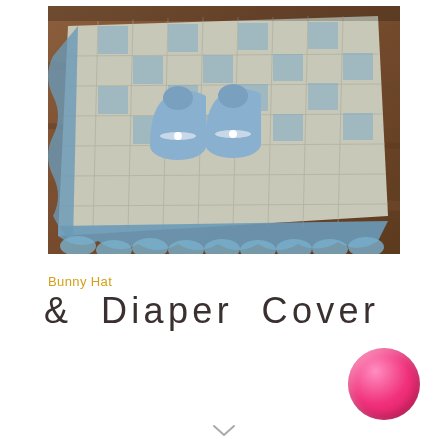[Figure (photo): Photo of crocheted baby items including booties/slippers and a blanket in blue and cream/tan colors, displayed on a wooden surface. The blanket has decorative scalloped blue edging.]
Bunny Hat
& Diaper Cover